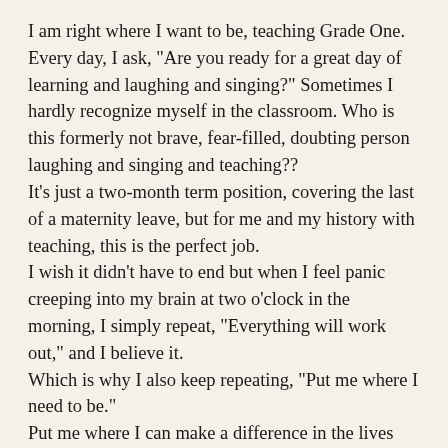I am right where I want to be, teaching Grade One. Every day, I ask, "Are you ready for a great day of learning and laughing and singing?" Sometimes I hardly recognize myself in the classroom. Who is this formerly not brave, fear-filled, doubting person laughing and singing and teaching??
It's just a two-month term position, covering the last of a maternity leave, but for me and my history with teaching, this is the perfect job.
I wish it didn't have to end but when I feel panic creeping into my brain at two o'clock in the morning, I simply repeat, "Everything will work out," and I believe it.
Which is why I also keep repeating, "Put me where I need to be."
Put me where I can make a difference in the lives and learning of young people with my enthusiasm and skills and hard-won pearls of wisdom.
Because I also believe this very strongly: my life has a